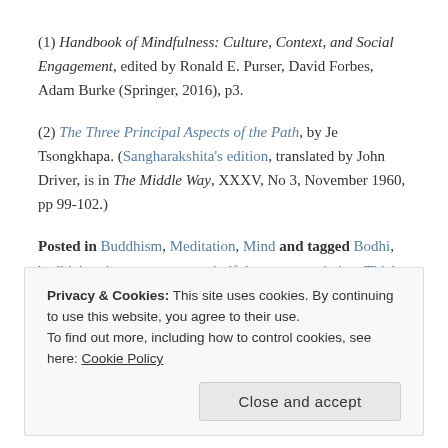(1) Handbook of Mindfulness: Culture, Context, and Social Engagement, edited by Ronald E. Purser, David Forbes, Adam Burke (Springer, 2016), p3.
(2) The Three Principal Aspects of the Path, by Je Tsongkhapa. (Sangharakshita's edition, translated by John Driver, is in The Middle Way, XXXV, No 3, November 1960, pp 99-102.)
Posted in Buddhism, Meditation, Mind and tagged Bodhi, bodhicitta, impermanence, mindfulness, renunciation, Thich Nhat Hanh, Tsongkhapa on December 11, 2017.
Privacy & Cookies: This site uses cookies. By continuing to use this website, you agree to their use. To find out more, including how to control cookies, see here: Cookie Policy
Close and accept